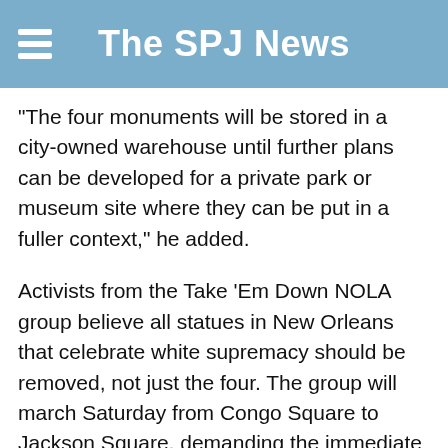The SPJ News
“The four monuments will be stored in a city-owned warehouse until further plans can be developed for a private park or museum site where they can be put in a fuller context,” he added.
Activists from the Take ‘Em Down NOLA group believe all statues in New Orleans that celebrate white supremacy should be removed, not just the four. The group will march Saturday from Congo Square to Jackson Square, demanding the immediate removal.
Meanwhile, the U.S. Court of Appeals will weigh merits of the district court’s decision on Sept. 28. By then, the appeals process could indicate whether